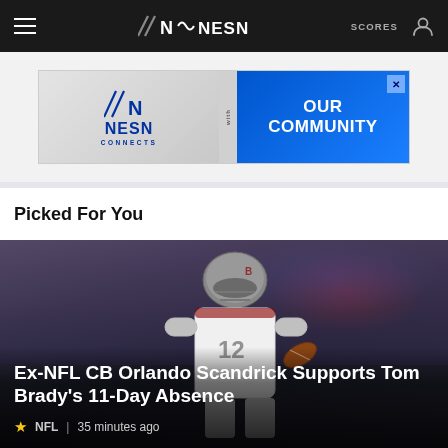NESN — SCORES
[Figure (screenshot): NESN Connects advertisement banner: left side shows NESN logo with 'CONNECTS' text on grey background, right side shows blue background with 'with OUR COMMUNITY' text]
Picked For You
[Figure (photo): NFL quarterback in Tampa Bay Buccaneers white uniform (#12) holding a football, wearing helmet with faceguard, crowd in background in a dark stadium]
Ex-NFL CB Orlando Scandrick Supports Tom Brady's 11-Day Absence
NFL  |  35 minutes ago